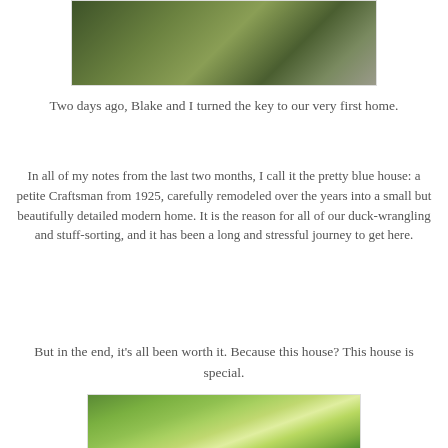[Figure (photo): Outdoor photo showing wooden planter boxes or raised garden beds with large green leafy plants, and what appears to be a metal barrel or container on the right side, on a patio or deck area.]
Two days ago, Blake and I turned the key to our very first home.
In all of my notes from the last two months, I call it the pretty blue house: a petite Craftsman from 1925, carefully remodeled over the years into a small but beautifully detailed modern home. It is the reason for all of our duck-wrangling and stuff-sorting, and it has been a long and stressful journey to get here.
But in the end, it's all been worth it. Because this house? This house is special.
[Figure (photo): Close-up photo of bright green leaves, likely from a tree or shrub, with soft bokeh background.]